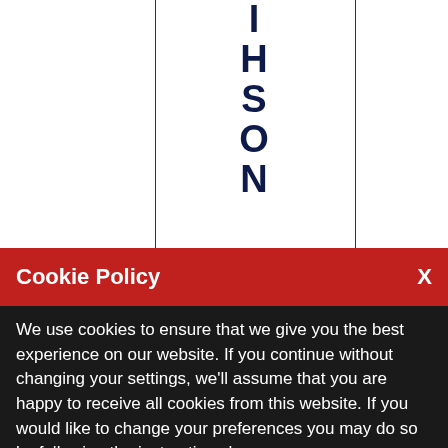[Figure (other): Partial table with vertical text spelling 'HSON' in dark navy bold letters in the center column, with left, center, and right column borders visible]
Cookie Policy
We use cookies to ensure that we give you the best experience on our website. If you continue without changing your settings, we'll assume that you are happy to receive all cookies from this website. If you would like to change your preferences you may do so by following the instructions here.